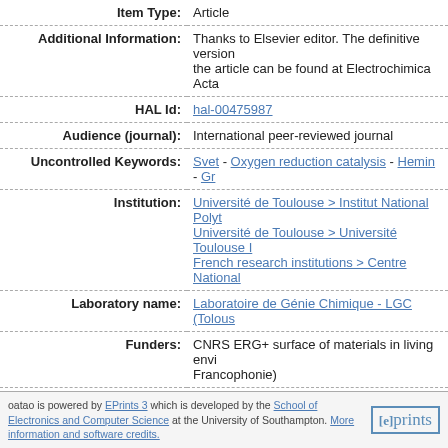| Field | Value |
| --- | --- |
| Item Type: | Article |
| Additional Information: | Thanks to Elsevier editor. The definitive version of the article can be found at Electrochimica Acta |
| HAL Id: | hal-00475987 |
| Audience (journal): | International peer-reviewed journal |
| Uncontrolled Keywords: | Svet - Oxygen reduction catalysis - Hemin - Gr... |
| Institution: | Université de Toulouse > Institut National Polyt... / Université de Toulouse > Université Toulouse I... / French research institutions > Centre National... |
| Laboratory name: | Laboratoire de Génie Chimique - LGC (Tolous... |
| Funders: | CNRS ERG+ surface of materials in living envi... Francophonie) |
| Statistics: | download |
| Deposited On: | 02 Oct 2008 13:47 |
BibTeX Export
oatao is powered by EPrints 3 which is developed by the School of Electronics and Computer Science at the University of Southampton. More information and software credits.